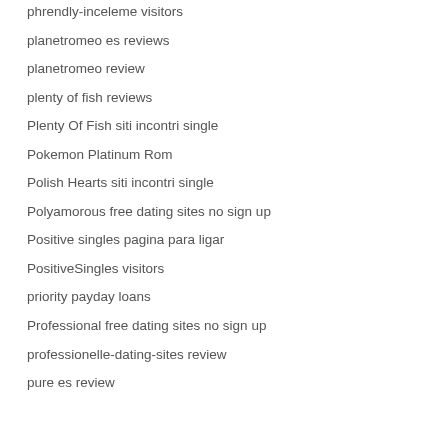phrendly-inceleme visitors
planetromeo es reviews
planetromeo review
plenty of fish reviews
Plenty Of Fish siti incontri single
Pokemon Platinum Rom
Polish Hearts siti incontri single
Polyamorous free dating sites no sign up
Positive singles pagina para ligar
PositiveSingles visitors
priority payday loans
Professional free dating sites no sign up
professionelle-dating-sites review
pure es review